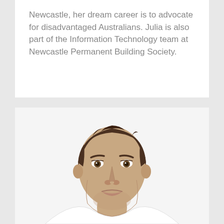Newcastle, her dream career is to advocate for disadvantaged Australians. Julia is also part of the Information Technology team at Newcastle Permanent Building Society.
[Figure (photo): Headshot photo of a middle-aged man with short dark hair, wearing a white shirt, photographed against a white background.]